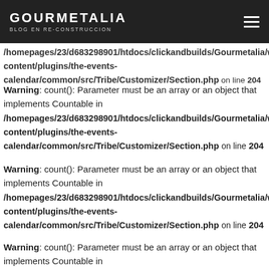GOURMETALIA BLOG EN RE-CONSTRUCCION
/homepages/23/d683298901/htdocs/clickandbuilds/Gourmetalia/wp-content/plugins/the-events-calendar/common/src/Tribe/Customizer/Section.php on line 204
Warning: count(): Parameter must be an array or an object that implements Countable in /homepages/23/d683298901/htdocs/clickandbuilds/Gourmetalia/wp-content/plugins/the-events-calendar/common/src/Tribe/Customizer/Section.php on line 204
Warning: count(): Parameter must be an array or an object that implements Countable in /homepages/23/d683298901/htdocs/clickandbuilds/Gourmetalia/wp-content/plugins/the-events-calendar/common/src/Tribe/Customizer/Section.php on line 204
Warning: count(): Parameter must be an array or an object that implements Countable in /homepages/23/d683298901/htdocs/clickandbuilds/Gourmetalia/wp-content/plugins/the-events-calendar/common/src/Tribe/Customizer/Section.php on line 204